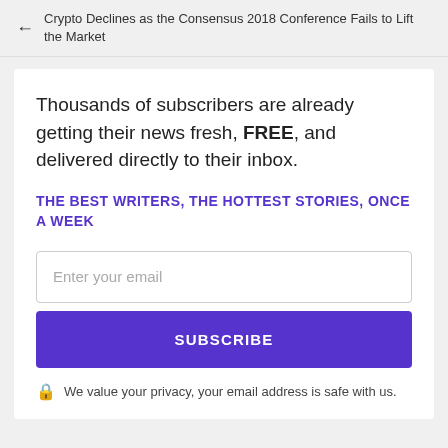← Crypto Declines as the Consensus 2018 Conference Fails to Lift the Market
Thousands of subscribers are already getting their news fresh, FREE, and delivered directly to their inbox.
THE BEST WRITERS, THE HOTTEST STORIES, ONCE A WEEK
Enter your email
SUBSCRIBE
🔒 We value your privacy, your email address is safe with us.